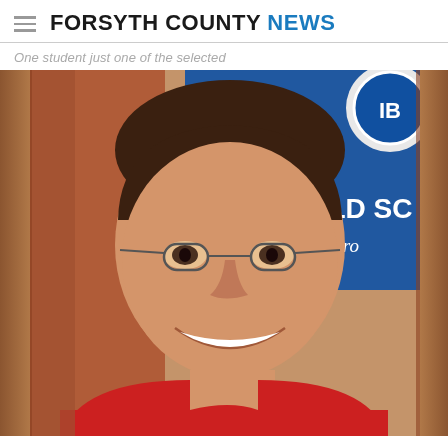FORSYTH COUNTY NEWS
One student just one of the selected
[Figure (photo): Young male student with short dark hair wearing glasses and a red shirt, smiling broadly in front of a blue banner reading 'WORLD SC Diploma Pro' (IB World School / Diploma Programme). Brick wall visible on the left side.]